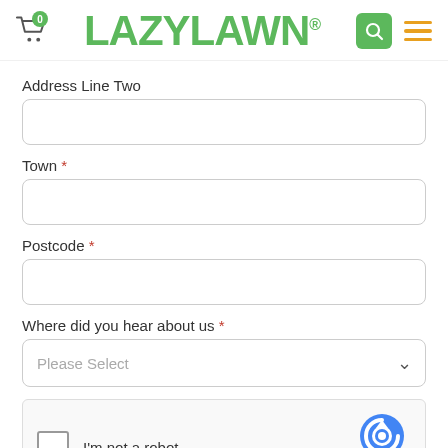[Figure (logo): LazyLawn logo with shopping cart icon (badge: 0), search icon, and hamburger menu icon in header]
Address Line Two
Town *
Postcode *
Where did you hear about us *
Please Select
I'm not a robot
reCAPTCHA Privacy · Terms
Help